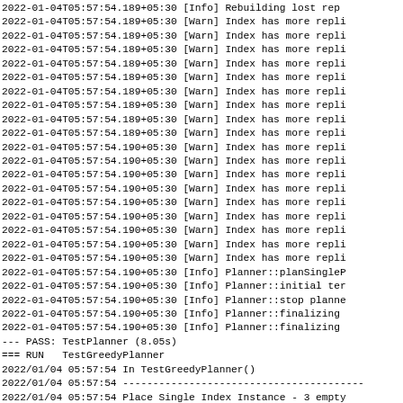2022-01-04T05:57:54.189+05:30 [Info] Rebuilding lost rep...
2022-01-04T05:57:54.189+05:30 [Warn] Index has more repli...
2022-01-04T05:57:54.189+05:30 [Warn] Index has more repli...
2022-01-04T05:57:54.189+05:30 [Warn] Index has more repli...
2022-01-04T05:57:54.189+05:30 [Warn] Index has more repli...
2022-01-04T05:57:54.189+05:30 [Warn] Index has more repli...
2022-01-04T05:57:54.189+05:30 [Warn] Index has more repli...
2022-01-04T05:57:54.189+05:30 [Warn] Index has more repli...
2022-01-04T05:57:54.189+05:30 [Warn] Index has more repli...
2022-01-04T05:57:54.189+05:30 [Warn] Index has more repli...
2022-01-04T05:57:54.190+05:30 [Warn] Index has more repli...
2022-01-04T05:57:54.190+05:30 [Warn] Index has more repli...
2022-01-04T05:57:54.190+05:30 [Warn] Index has more repli...
2022-01-04T05:57:54.190+05:30 [Warn] Index has more repli...
2022-01-04T05:57:54.190+05:30 [Warn] Index has more repli...
2022-01-04T05:57:54.190+05:30 [Warn] Index has more repli...
2022-01-04T05:57:54.190+05:30 [Warn] Index has more repli...
2022-01-04T05:57:54.190+05:30 [Warn] Index has more repli...
2022-01-04T05:57:54.190+05:30 [Warn] Index has more repli...
2022-01-04T05:57:54.190+05:30 [Info] Planner::planSingleP...
2022-01-04T05:57:54.190+05:30 [Info] Planner::initial ter...
2022-01-04T05:57:54.190+05:30 [Info] Planner::stop planne...
2022-01-04T05:57:54.190+05:30 [Info] Planner::finalizing
2022-01-04T05:57:54.190+05:30 [Info] Planner::finalizing
--- PASS: TestPlanner (8.05s)
=== RUN   TestGreedyPlanner
2022/01/04 05:57:54 In TestGreedyPlanner()
2022/01/04 05:57:54 ----------------------------------------...
2022/01/04 05:57:54 Place Single Index Instance - 3 empty...
2022-01-04T05:57:54.193+05:30 [Info] Using greedy index p...
2022/01/04 05:57:54